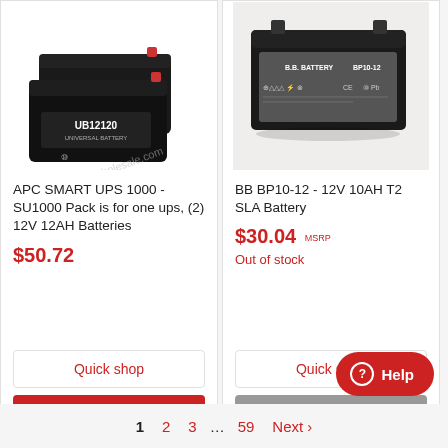[Figure (photo): Two black UB12120 Universal Battery 12V 12AH SLA batteries stacked, with a watermark overlay reading 'Batterywholesale.com']
APC SMART UPS 1000 - SU1000 Pack is for one ups, (2) 12V 12AH Batteries
$50.72
Quick shop
Add to cart
[Figure (photo): Black BB Battery BP10-12 12V 10AH SLA battery with safety symbols and UL/CE certification marks on label]
BB BP10-12 - 12V 10AH T2 SLA Battery
$30.04 MSRP
Out of stock
Quick shop
Sold out
Help
1  2  3  ...  59  Next >